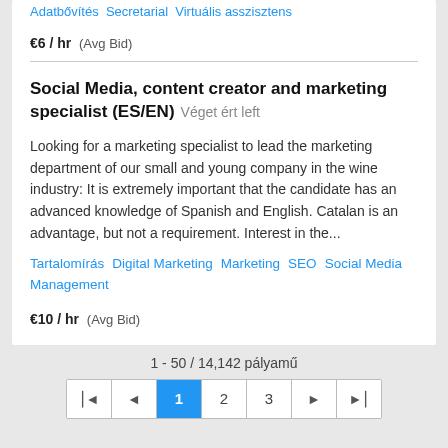Adatbővítés  Secretarial  Virtuális asszisztens
€6 / hr  (Avg Bid)
Social Media, content creator and marketing specialist (ES/EN)  Véget ért left
Looking for a marketing specialist to lead the marketing department of our small and young company in the wine industry: It is extremely important that the candidate has an advanced knowledge of Spanish and English. Catalan is an advantage, but not a requirement. Interest in the...
Tartalomírás  Digital Marketing  Marketing  SEO  Social Media Management
€10 / hr  (Avg Bid)
1 - 50 / 14,142 pályamű
navigation: |◀  ◀  1  2  3  ▶  ▶|